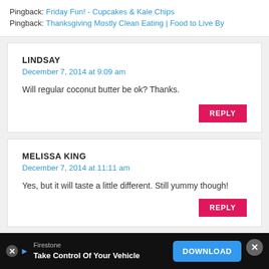Pingback: Friday Fun! - Cupcakes & Kale Chips
Pingback: Thanksgiving Mostly Clean Eating | Food to Live By
LINDSAY
December 7, 2014 at 9:09 am
Will regular coconut butter be ok? Thanks.
MELISSA KING
December 7, 2014 at 11:11 am
Yes, but it will taste a little different. Still yummy though!
Firestone
Take Control Of Your Vehicle
DOWNLOAD